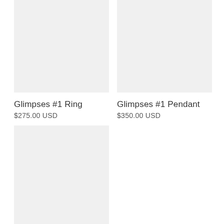[Figure (photo): Product image placeholder for Glimpses #1 Ring, light gray background]
[Figure (photo): Product image placeholder for Glimpses #1 Pendant, light gray background]
Glimpses #1 Ring
$275.00 USD
Glimpses #1 Pendant
$350.00 USD
[Figure (photo): Product image placeholder, light gray background, partially visible]